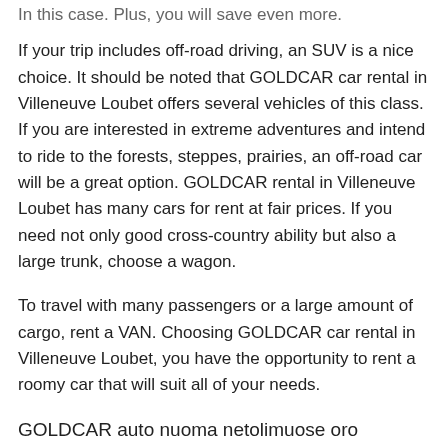In this case. Plus, you will save even more.
If your trip includes off-road driving, an SUV is a nice choice. It should be noted that GOLDCAR car rental in Villeneuve Loubet offers several vehicles of this class. If you are interested in extreme adventures and intend to ride to the forests, steppes, prairies, an off-road car will be a great option. GOLDCAR rental in Villeneuve Loubet has many cars for rent at fair prices. If you need not only good cross-country ability but also a large trunk, choose a wagon.
To travel with many passengers or a large amount of cargo, rent a VAN. Choosing GOLDCAR car rental in Villeneuve Loubet, you have the opportunity to rent a roomy car that will suit all of your needs.
GOLDCAR auto nuoma netolimuose oro uostuose
✈ GOLDCAR Nice Oro Uostas